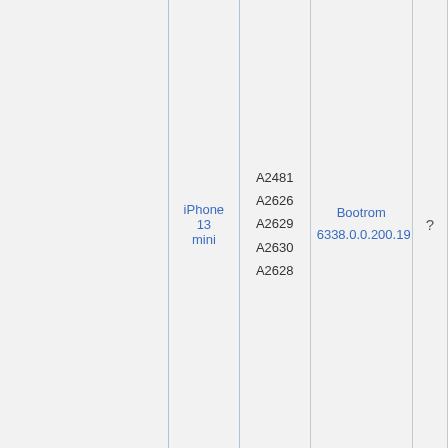|  | Model | Model Numbers | Bootrom |  |
| --- | --- | --- | --- | --- |
|  | iPhone 13 mini | A2481
A2626
A2629
A2630
A2628 | Bootrom 6338.0.0.200.19 | ? |